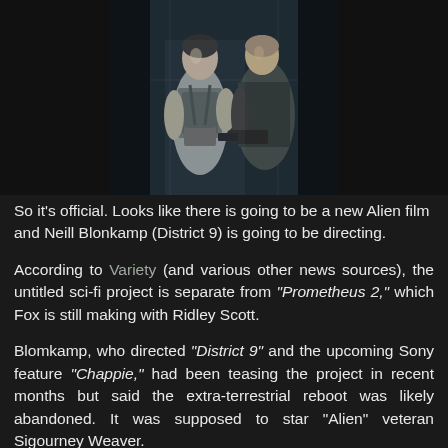[Figure (photo): Movie promotional image showing two characters — a woman in tactical gear and a man in dark clothing holding weapons, set against a sci-fi background]
So it's official. Looks like there is going to be a new Alien film and Neill Blonkamp (District 9) is going to be directing.
According to Variety (and various other news sources), the untitled sci-fi project is separate from "Prometheus 2," which Fox is still making with Ridley Scott.
Blomkamp, who directed "District 9" and the upcoming Sony feature "Chappie," had been teasing the project in recent months but said the extra-terrestrial reboot was likely abandoned. It was supposed to star "Alien" veteran Sigourney Weaver.